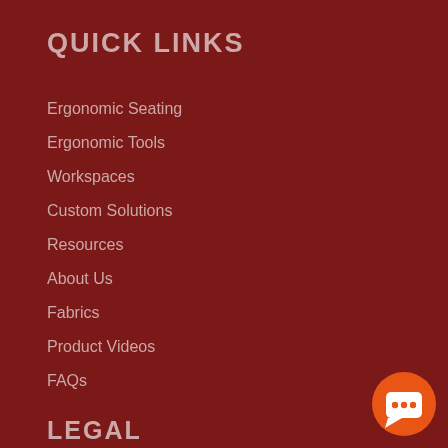QUICK LINKS
Ergonomic Seating
Ergonomic Tools
Workspaces
Custom Solutions
Resources
About Us
Fabrics
Product Videos
FAQs
LEGAL
Terms of Service
Privacy Policy
[Figure (illustration): Orange circular chat/message button icon in bottom right corner]